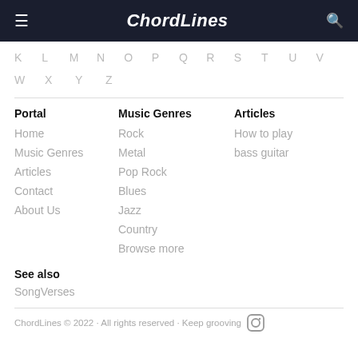ChordLines
K L M N O P Q R S T U V
W X Y Z
Portal
Home
Music Genres
Articles
Contact
About Us
Music Genres
Rock
Metal
Pop Rock
Blues
Jazz
Country
Browse more
Articles
How to play bass guitar
See also
SongVerses
ChordLines © 2022 · All rights reserved · Keep grooving